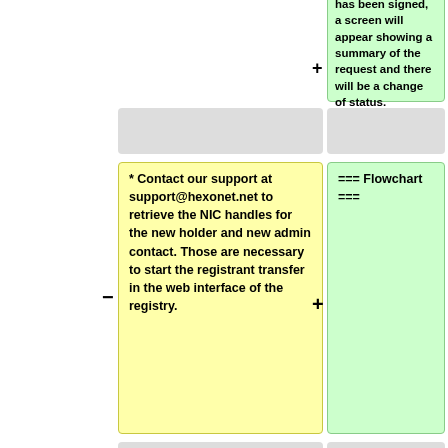has been signed, a screen will appear showing a summary of the request and there will be a change of status.
=== Flowchart ===
* Contact our support at support@hexonet.net to retrieve the NIC handles for the new holder and new admin contact. Those are necessary to start the registrant transfer in the web interface of the registry.
* Login at the registry with the credentials of the current admin contact [https://www.nic.es/sgnd/login.action?tinoContactoElegido=1&